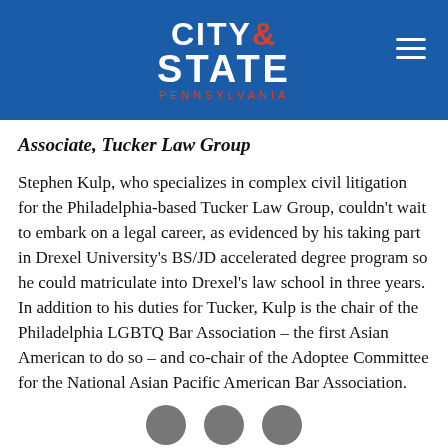CITY & STATE PENNSYLVANIA
Associate, Tucker Law Group
Stephen Kulp, who specializes in complex civil litigation for the Philadelphia-based Tucker Law Group, couldn't wait to embark on a legal career, as evidenced by his taking part in Drexel University's BS/JD accelerated degree program so he could matriculate into Drexel's law school in three years. In addition to his duties for Tucker, Kulp is the chair of the Philadelphia LGBTQ Bar Association – the first Asian American to do so – and co-chair of the Adoptee Committee for the National Asian Pacific American Bar Association.